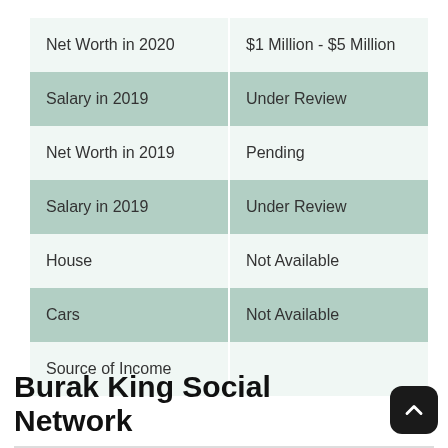|  |  |
| --- | --- |
| Net Worth in 2020 | $1 Million - $5 Million |
| Salary in 2019 | Under Review |
| Net Worth in 2019 | Pending |
| Salary in 2019 | Under Review |
| House | Not Available |
| Cars | Not Available |
| Source of Income |  |
Burak King Social Network